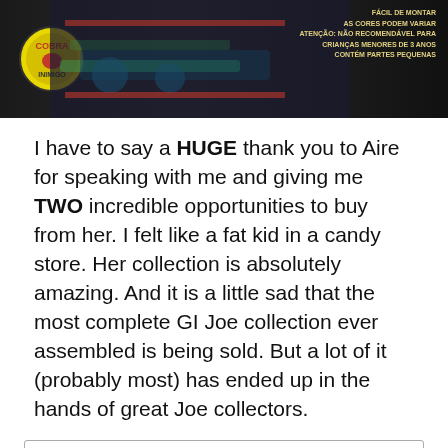[Figure (photo): Photo of a GI Joe toy box with Cobra Inimigo badge visible at left and Portuguese text on the right side against a dark background.]
I have to say a HUGE thank you to Aire for speaking with me and giving me TWO incredible opportunities to buy from her. I felt like a fat kid in a candy store. Her collection is absolutely amazing. And it is a little sad that the most complete GI Joe collection ever assembled is being sold. But a lot of it (probably most) has ended up in the hands of great Joe collectors.
Privacy & Cookies: This site uses cookies. By continuing to use this website, you agree to their use.
To find out more, including how to control cookies, see here: Cookie Policy
Close and accept